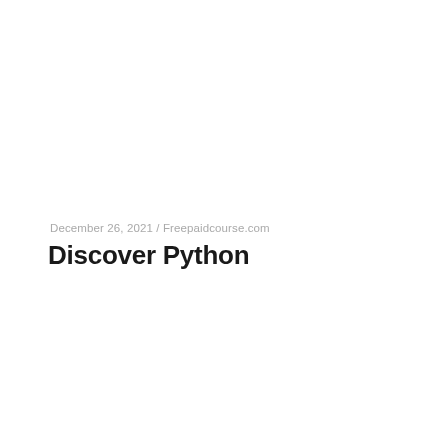December 26, 2021  /  Freepaidcourse.com
Discover Python